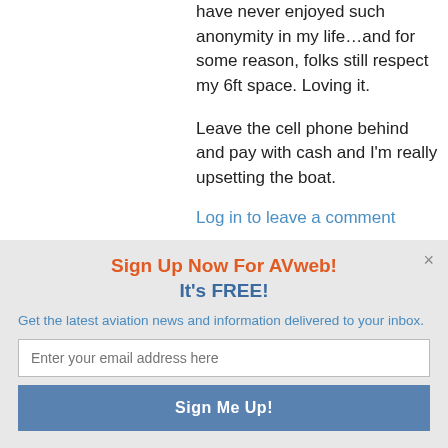have never enjoyed such anonymity in my life…and for some reason, folks still respect my 6ft space. Loving it.
Leave the cell phone behind and pay with cash and I'm really upsetting the boat.
Log in to leave a comment
Sign Up Now For AVweb! It's FREE!
Get the latest aviation news and information delivered to your inbox.